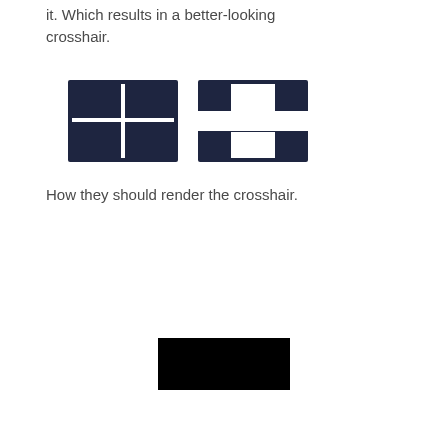it. Which results in a better-looking crosshair.
[Figure (illustration): Two crosshair icons side by side on dark navy backgrounds. Left: thin white cross (plus sign) lines on dark background. Right: thick bold white cross shape on dark background.]
How they should render the crosshair.
[Figure (illustration): A solid black rectangle.]